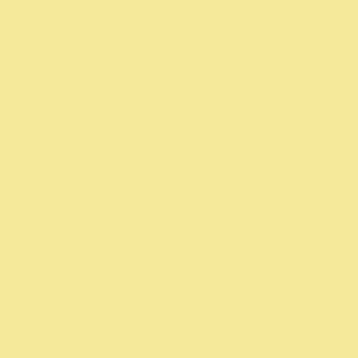Posted by: Alex Vesey | Tuesday, 19 July 2011 at 05:42
The preceding posts seem united aga... Could it be that Canon enthusiasts ar... ratings give an edge to Nikon top lin... have a good camera to enjoy.
Posted by: Malcolm S | Tuesday, 19 July 2011 at 06:19
Looking at what they do with cars, h... camera awards does J.D. Powers hav...
Posted by: Chuck Albertson | Tuesday, 19 July 2011 at...
If a DSLR owner is "least satisfied w... recommend either a wider aperture c... factor which they've paid good mone... themselves.
How odd.